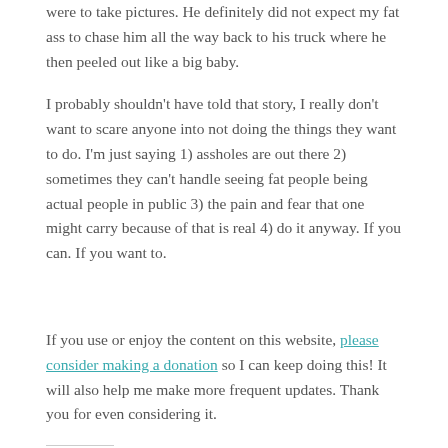were to take pictures. He definitely did not expect my fat ass to chase him all the way back to his truck where he then peeled out like a big baby.
I probably shouldn't have told that story, I really don't want to scare anyone into not doing the things they want to do. I'm just saying 1) assholes are out there 2) sometimes they can't handle seeing fat people being actual people in public 3) the pain and fear that one might carry because of that is real 4) do it anyway. If you can. If you want to.
If you use or enjoy the content on this website, please consider making a donation so I can keep doing this! It will also help me make more frequent updates. Thank you for even considering it.
Share